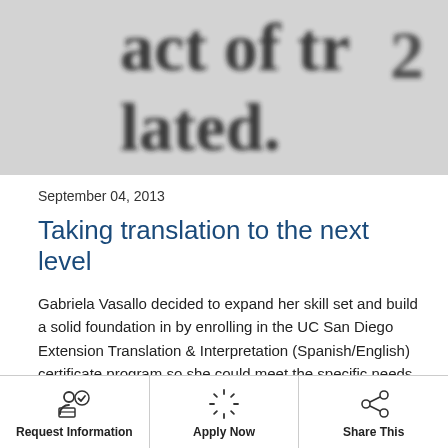[Figure (photo): Close-up blurred photo of printed text showing partial words 'act of tr' and 'lated.' in large font, black on white/grey background]
September 04, 2013
Taking translation to the next level
Gabriela Vasallo decided to expand her skill set and build a solid foundation in by enrolling in the UC San Diego Extension Translation & Interpretation (Spanish/English) certificate program so she could meet the specific needs of her clients in the legal field.
Request Information | Apply Now | Share This